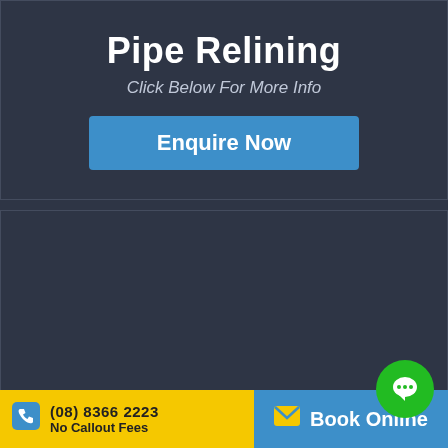Pipe Relining
Click Below For More Info
Enquire Now
We're taking extra precautions to keep our customers and staff safe. All our technicians are covid 19 infection controlled.
(08) 8366 2223
No Callout Fees
Book Online